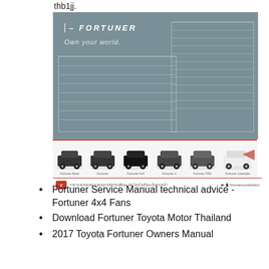thb1jj.
[Figure (photo): Toyota Fortuner brochure/spec sheet showing 'Own your world.' tagline with gray technical specification table layout on top half, and bottom strip showing multiple Fortuner car variants in silhouette with a red accent bar and dealership/contact footer.]
Fortuner Service Manual technical advice - Fortuner 4x4 Fans
Download Fortuner Toyota Motor Thailand
2017 Toyota Fortuner Owners Manual